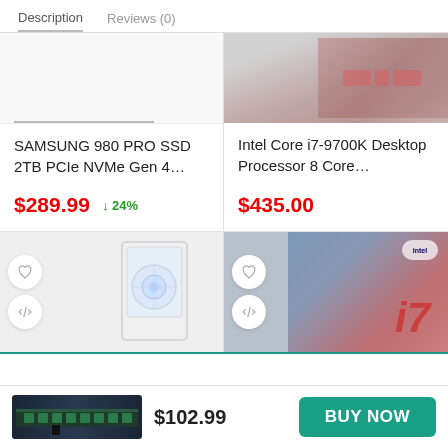Description   Reviews (0)
[Figure (photo): Partial product image top-left (cut off), blank white area with underline tab indicator]
[Figure (photo): AMD processor/brand logo image, pink-red tones, partially shown at top]
SAMSUNG 980 PRO SSD 2TB PCIe NVMe Gen 4...
Intel Core i7-9700K Desktop Processor 8 Core...
$289.99
↓24%
$435.00
[Figure (photo): White PC tower case with LED fan, partially visible]
[Figure (photo): Intel Core i7 processor chip box, red and blue tones, partially visible]
[Figure (photo): RAM memory stick product image in bottom bar]
$102.99
BUY NOW